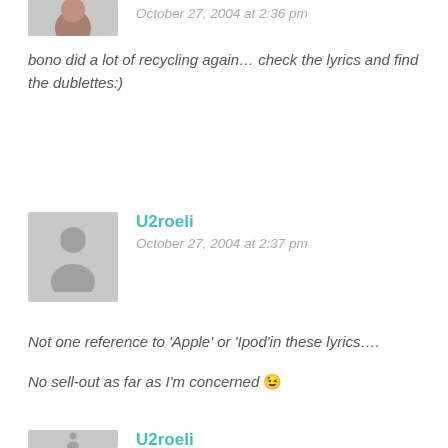[Figure (photo): Partial avatar photo of a person at top of page]
October 27, 2004 at 2:36 pm
bono did a lot of recycling again… check the lyrics and find the dublettes:)
[Figure (illustration): Gray placeholder avatar silhouette for U2roeli]
U2roeli
October 27, 2004 at 2:37 pm
Not one reference to 'Apple' or 'Ipod'in these lyrics….
No sell-out as far as I'm concerned 😉
[Figure (illustration): Gray placeholder avatar silhouette for U2roeli (second comment)]
U2roeli
October 27, 2004 at 2:37 pm